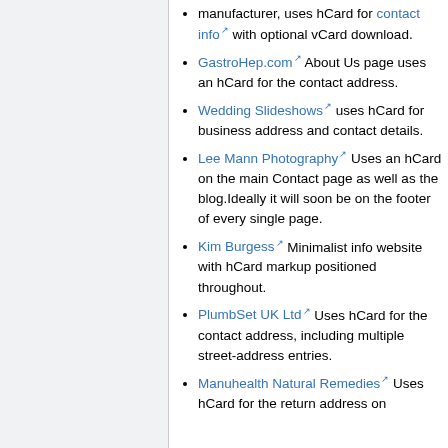manufacturer, uses hCard for contact info with optional vCard download.
GastroHep.com About Us page uses an hCard for the contact address.
Wedding Slideshows uses hCard for business address and contact details.
Lee Mann Photography Uses an hCard on the main Contact page as well as the blog.Ideally it will soon be on the footer of every single page.
Kim Burgess Minimalist info website with hCard markup positioned throughout.
PlumbSet UK Ltd Uses hCard for the contact address, including multiple street-address entries.
Manuhealth Natural Remedies Uses hCard for the return address on